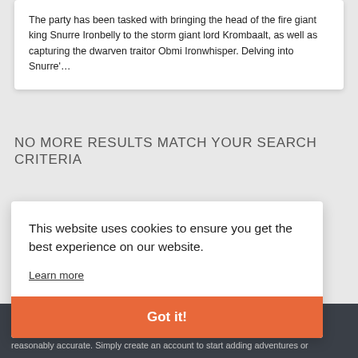The party has been tasked with bringing the head of the fire giant king Snurre Ironbelly to the storm giant lord Krombaalt, as well as capturing the dwarven traitor Obmi Ironwhisper. Delving into Snurre'…
NO MORE RESULTS MATCH YOUR SEARCH CRITERIA
This website uses cookies to ensure you get the best experience on our website.
Learn more
Got it!
s and try is reasonably accurate. Simply create an account to start adding adventures or